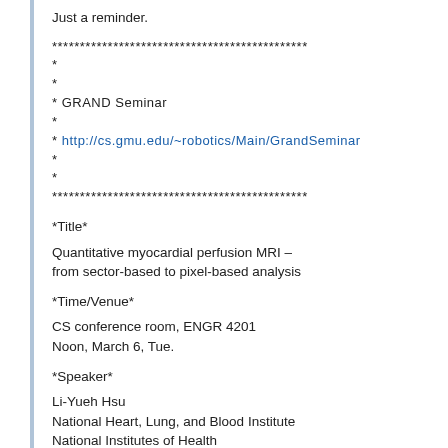Just a reminder.
**********************************************
*
*
* GRAND Seminar
*
* http://cs.gmu.edu/~robotics/Main/GrandSeminar
*
*
**********************************************
*Title*
Quantitative myocardial perfusion MRI – from sector-based to pixel-based analysis
*Time/Venue*
CS conference room, ENGR 4201
Noon, March 6, Tue.
*Speaker*
Li-Yueh Hsu
National Heart, Lung, and Blood Institute
National Institutes of Health
*Host*